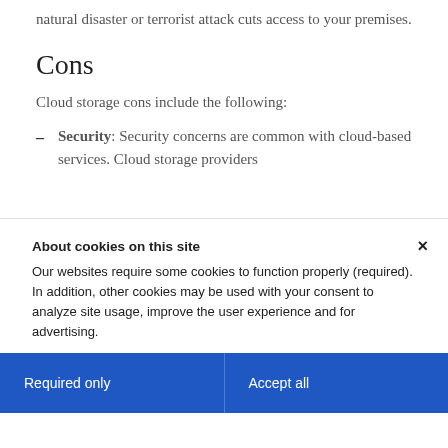natural disaster or terrorist attack cuts access to your premises.
Cons
Cloud storage cons include the following:
Security: Security concerns are common with cloud-based services. Cloud storage providers
About cookies on this site
Our websites require some cookies to function properly (required). In addition, other cookies may be used with your consent to analyze site usage, improve the user experience and for advertising.

For more information, please review your Cookie preferences options and IBM's privacy statement.
Required only
Accept all